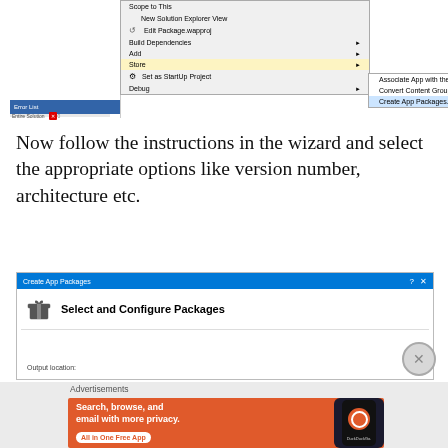[Figure (screenshot): Visual Studio right-click context menu showing Store submenu with 'Create App Packages...' highlighted]
Now follow the instructions in the wizard and select the appropriate options like version number, architecture etc.
[Figure (screenshot): Create App Packages dialog showing 'Select and Configure Packages' with an Output location field]
Advertisements
[Figure (photo): DuckDuckGo advertisement: Search, browse, and email with more privacy. All in One Free App]